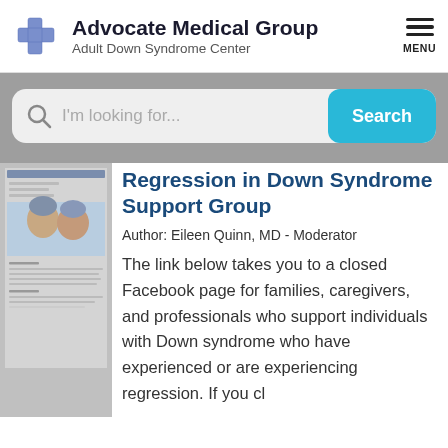[Figure (logo): Advocate Medical Group logo with blue cross and text 'Advocate Medical Group / Adult Down Syndrome Center']
Regression in Down Syndrome Support Group
Author: Eileen Quinn, MD - Moderator
The link below takes you to a closed Facebook page for families, caregivers, and professionals who support individuals with Down syndrome who have experienced or are experiencing regression. If you cl